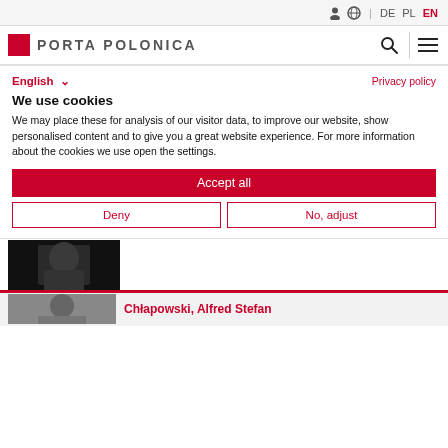DE PL EN — Porta Polonica
English  Privacy policy
We use cookies
We may place these for analysis of our visitor data, to improve our website, show personalised content and to give you a great website experience. For more information about the cookies we use open the settings.
Accept all
Deny
No, adjust
[Figure (photo): Black and white portrait photo partially visible at bottom of page]
Chłapowski, Alfred Stefan